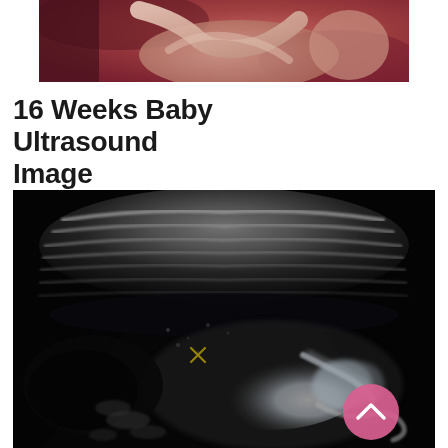[Figure (illustration): Partial view of a medical illustration showing a fetus in utero, with reddish-pink tones and anatomical detail visible at the top of the page]
16 Weeks Baby Ultrasound Image
[Figure (photo): Black and white ultrasound scan image of a 16-week fetus. The image shows the fetus with a small yellow/gold X marker crosshair visible in the center of the image, and a pink circular scroll-to-top button overlaid in the lower right corner of the image.]